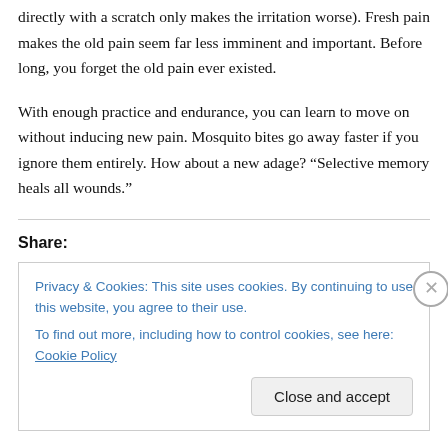directly with a scratch only makes the irritation worse). Fresh pain makes the old pain seem far less imminent and important. Before long, you forget the old pain ever existed.
With enough practice and endurance, you can learn to move on without inducing new pain. Mosquito bites go away faster if you ignore them entirely. How about a new adage? “Selective memory heals all wounds.”
Share:
Privacy & Cookies: This site uses cookies. By continuing to use this website, you agree to their use.
To find out more, including how to control cookies, see here: Cookie Policy